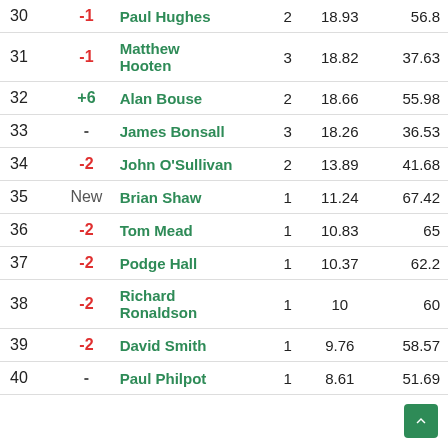| # | Change | Name | Wins | Avg | Best |
| --- | --- | --- | --- | --- | --- |
| 30 | -1 | Paul Hughes | 2 | 18.93 | 56.8 |
| 31 | -1 | Matthew Hooten | 3 | 18.82 | 37.63 |
| 32 | +6 | Alan Bouse | 2 | 18.66 | 55.98 |
| 33 | - | James Bonsall | 3 | 18.26 | 36.53 |
| 34 | -2 | John O'Sullivan | 2 | 13.89 | 41.68 |
| 35 | New | Brian Shaw | 1 | 11.24 | 67.42 |
| 36 | -2 | Tom Mead | 1 | 10.83 | 65 |
| 37 | -2 | Podge Hall | 1 | 10.37 | 62.2 |
| 38 | -2 | Richard Ronaldson | 1 | 10 | 60 |
| 39 | -2 | David Smith | 1 | 9.76 | 58.57 |
| 40 | - | Paul Philpot | 1 | 8.61 | 51.69 |